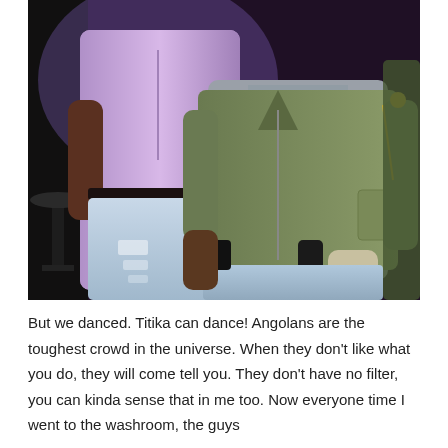[Figure (photo): Two people standing side by side in what appears to be a nightclub or bar setting. The person on the left wears a purple/pink button-up shirt and distressed light-wash jeans. The person on the right wears a grey t-shirt and an olive green bomber jacket with light blue jeans. Both are holding phones.]
But we danced. Titika can dance! Angolans are the toughest crowd in the universe. When they don't like what you do, they will come tell you. They don't have no filter, you can kinda sense that in me too. Now everyone time I went to the washroom, the guys